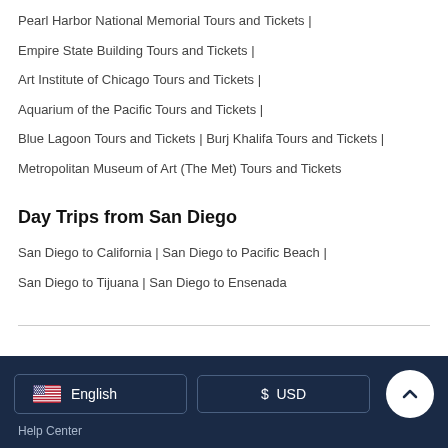Pearl Harbor National Memorial Tours and Tickets |
Empire State Building Tours and Tickets |
Art Institute of Chicago Tours and Tickets |
Aquarium of the Pacific Tours and Tickets |
Blue Lagoon Tours and Tickets | Burj Khalifa Tours and Tickets |
Metropolitan Museum of Art (The Met) Tours and Tickets
Day Trips from San Diego
San Diego to California | San Diego to Pacific Beach |
San Diego to Tijuana | San Diego to Ensenada
English | $ USD | Help Center